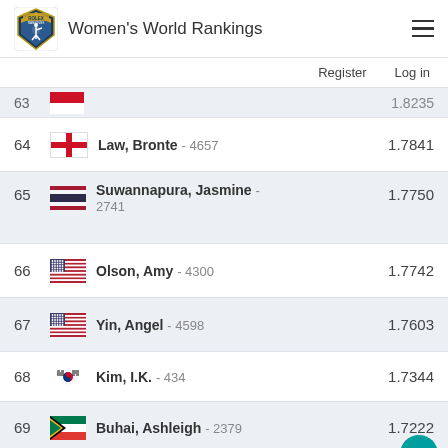Women's World Rankings
64 Law, Bronte - 4657   1.7841
65 Suwannapura, Jasmine - 2741   1.7750
66 Olson, Amy - 4300   1.7742
67 Yin, Angel - 4598   1.7603
68 Kim, I.K. - 434   1.7344
69 Buhai, Ashleigh - 2379   1.7222
70 Koerstz Madsen, Nanna -